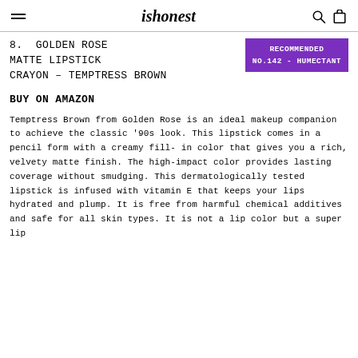ishonest
8. GOLDEN ROSE MATTE LIPSTICK CRAYON – TEMPTRESS BROWN
RECOMMENDED NO.142 - HUMECTANT
BUY ON AMAZON
Temptress Brown from Golden Rose is an ideal makeup companion to achieve the classic '90s look. This lipstick comes in a pencil form with a creamy fill- in color that gives you a rich, velvety matte finish. The high-impact color provides lasting coverage without smudging. This dermatologically tested lipstick is infused with vitamin E that keeps your lips hydrated and plump. It is free from harmful chemical additives and safe for all skin types. It is not a lip color but a super lip